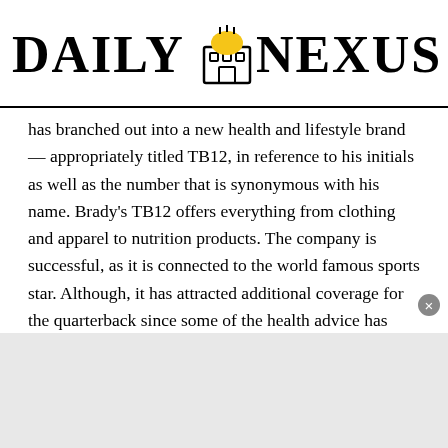DAILY NEXUS
has branched out into a new health and lifestyle brand – appropriately titled TB12, in reference to his initials as well as the number that is synonymous with his name. Brady's TB12 offers everything from clothing and apparel to nutrition products. The company is successful, as it is connected to the world famous sports star. Although, it has attracted additional coverage for the quarterback since some of the health advice has been deemed to be unconventional. Brady's own diet has attracted some attention. Brady has a strange list of foods he eats and does not eat. What he does eat is 80% vegan, which may